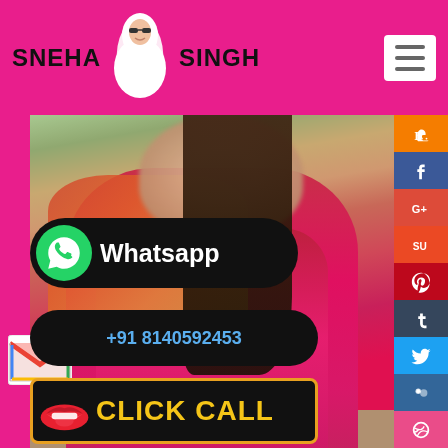SNEHA SINGH
[Figure (logo): Sneha Singh website logo with stylized woman face illustration]
[Figure (photo): Young woman in red and pink traditional Indian clothing sitting outdoors, face blurred]
[Figure (infographic): Gmail icon overlay on left side]
Whatsapp
+91 8140592453
CLICK CALL
[Figure (infographic): Social media sidebar icons: Blogger, Facebook, Google+, StumbleUpon, Pinterest, Tumblr, Twitter, MySpace, Dribbble]